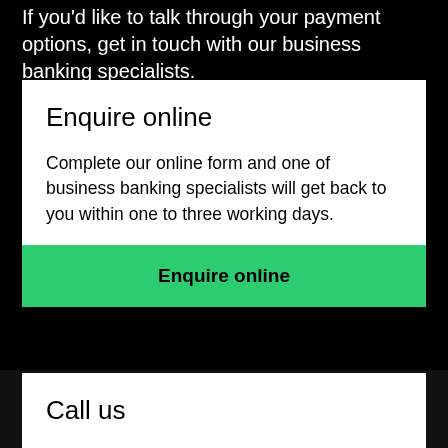If you'd like to talk through your payment options, get in touch with our business banking specialists.
Enquire online
Complete our online form and one of business banking specialists will get back to you within one to three working days.
Enquire online
Call us
Call our merchant services team on 0800 233 824, or +64 4 803 1646 if you're calling from overseas, Mon – Fri: 8am – 4.30pm.